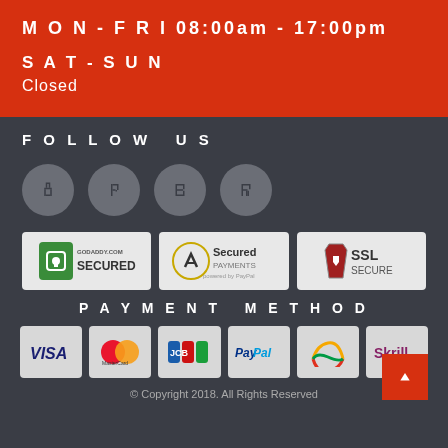MON-FRI 08:00am - 17:00pm
SAT-SUN
Closed
FOLLOW US
[Figure (infographic): Four social media icon circles (grey)]
[Figure (infographic): Three security badges: GoDaddy.com Secured, Secured Payments powered by PayPal, SSL Secure]
PAYMENT METHOD
[Figure (infographic): Six payment method logos: VISA, MasterCard, JCB, PayPal, generic wallet, Skrill]
© Copyright 2018. All Rights Reserved